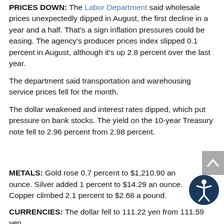PRICES DOWN: The Labor Department said wholesale prices unexpectedly dipped in August, the first decline in a year and a half. That's a sign inflation pressures could be easing. The agency's producer prices index slipped 0.1 percent in August, although it's up 2.8 percent over the last year.
The department said transportation and warehousing service prices fell for the month.
The dollar weakened and interest rates dipped, which put pressure on bank stocks. The yield on the 10-year Treasury note fell to 2.96 percent from 2.98 percent.
METALS: Gold rose 0.7 percent to $1,210.90 an ounce. Silver added 1 percent to $14.29 an ounce. Copper climbed 2.1 percent to $2.68 a pound.
CURRENCIES: The dollar fell to 111.22 yen from 111.59 yen.